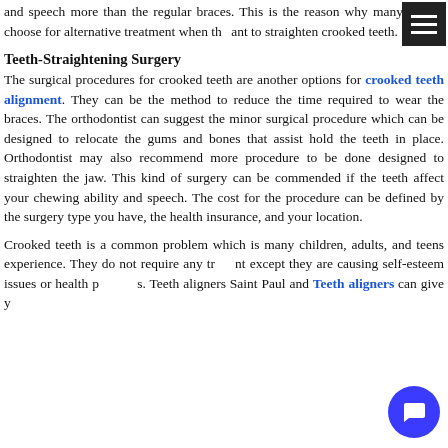and speech more than the regular braces. This is the reason why many people choose for alternative treatment when they want to straighten crooked teeth.
Teeth-Straightening Surgery
The surgical procedures for crooked teeth are another options for crooked teeth alignment. They can be the method to reduce the time required to wear the braces. The orthodontist can suggest the minor surgical procedure which can be designed to relocate the gums and bones that assist hold the teeth in place. Orthodontist may also recommend more procedure to be done designed to straighten the jaw. This kind of surgery can be commended if the teeth affect your chewing ability and speech. The cost for the procedure can be defined by the surgery type you have, the health insurance, and your location.
Crooked teeth is a common problem which is many children, adults, and teens experience. They do not require any treatment except they are causing self-esteem issues or health problems. Teeth aligners Saint Paul and Teeth aligners can give you the solution but the decision to align crooked teeth is a personal one.